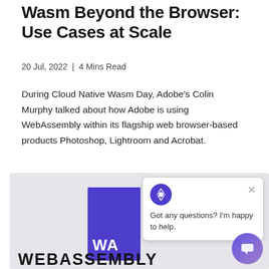Wasm Beyond the Browser: Use Cases at Scale
20 Jul, 2022 | 4 Mins Read
During Cloud Native Wasm Day, Adobe's Colin Murphy talked about how Adobe is using WebAssembly within its flagship web browser-based products Photoshop, Lightroom and Acrobat.
[Figure (screenshot): Screenshot of a webpage showing the WebAssembly logo (purple block with 'WA' letters) and a chat widget popup saying 'Got any questions? I'm happy to help.' with a diamond-shaped bot icon. At the bottom, large text reads 'WEBASSEMBLY'.]